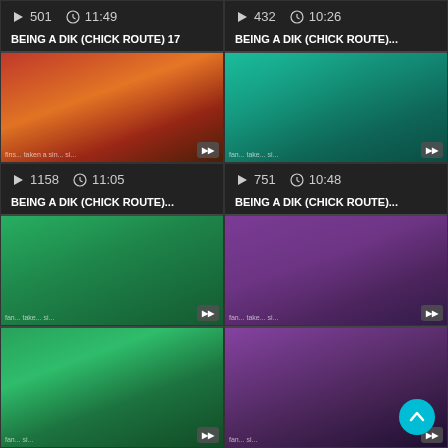[Figure (screenshot): Video thumbnail grid showing 4 video cards with titles 'BEING A DIK (CHICK ROUTE) 17' (501 plays, 11:49), 'BEING A DIK (CHICK ROUTE)...' (432 plays, 10:26), 'BEING A DIK (CHICK ROUTE)...' (1158 plays, 11:05), 'BEING A DIK (CHICK ROUTE)...' (751 plays, 10:48), and two more thumbnail images at the bottom.]